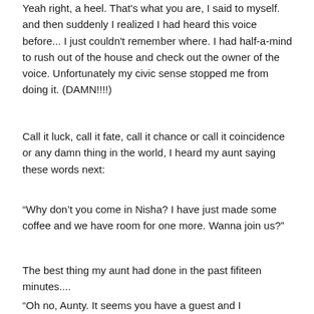Yeah right, a heel. That's what you are, I said to myself. and then suddenly I realized I had heard this voice before... I just couldn't remember where. I had half-a-mind to rush out of the house and check out the owner of the voice. Unfortunately my civic sense stopped me from doing it. (DAMN!!!!)
Call it luck, call it fate, call it chance or call it coincidence or any damn thing in the world, I heard my aunt saying these words next:
“Why don’t you come in Nisha? I have just made some coffee and we have room for one more. Wanna join us?”
The best thing my aunt had done in the past fifiteen minutes....
“Oh no, Aunty. It seems you have a guest and I